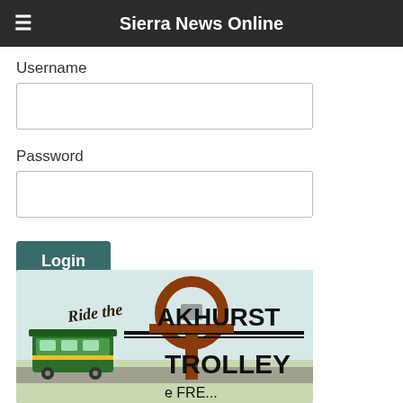Sierra News Online
Username
Password
Login
Remember Me
[Figure (illustration): Advertisement banner for Ride the Oakhurst Trolley showing a trolley illustration with text 'Ride the Oakhurst Trolley' and partial text '...e FRE...']